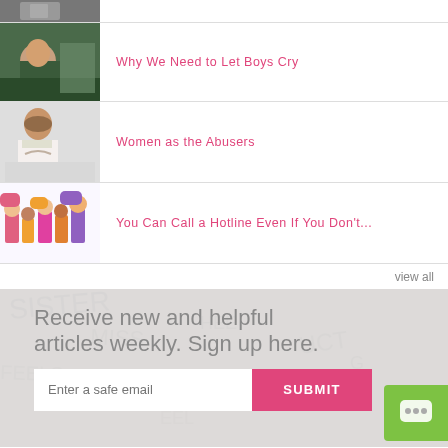[Figure (photo): Partial top article thumbnail - dark/grayscale image cropped at top]
[Figure (photo): Baby being held by adult, article thumbnail]
Why We Need to Let Boys Cry
[Figure (photo): Woman with open mouth yelling, article thumbnail]
Women as the Abusers
[Figure (illustration): Colorful illustrated characters, article thumbnail]
You Can Call a Hotline Even If You Don't...
view all
Receive new and helpful articles weekly. Sign up here.
Enter a safe email
SUBMIT